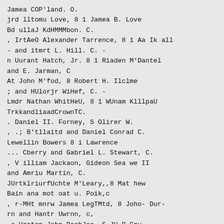Jamea COP'land. O.
jrd lltomu Love, 8 1 Jamea B. Love
Bd ullaJ KdHMMMbon. C.
, IrtAeO Alexander Tarrence, 8 1 Aa Ik all
- and itmrt L. Hill. C. -
n Uurant Hatch, Jr. 8 1 Riaden M'Dantel
and E. Jarman, C
At John M'fod, 8 Robert H. Ilclme
; and HUlorjr WiHef, C. -
Lmdr Nathan WhitHeU, 8 1 WUnam KlllpaU
TrkkandliaadCrownTC.
. Daniel II. Forney, S Olirer W.
, .; B'tllaitd and Daniel Conrad C.
Lewellin Bowers 8 i Lawrence
... Cberry and Gabriel L. Stewart, C.
, V illiam Jackaon, Gideon Sea we II
and Amriu Martin, C.
JUrtklriurfUchte M'Leary,,8 Mat hew
Bain ana mot oat u. Poik,c
, r-MHt mnrw Jamea LegTMtd, 8 Joho- Dur-
rn and Hantr Uwrnn, c,
-s Vrrtap John PeebJea,.S-JU B.Gry
: ; -.rr JVi JZiinr Tiiomaa Detank, 81 Stocklr
--JidbnTT nt Jopa A. HilW C